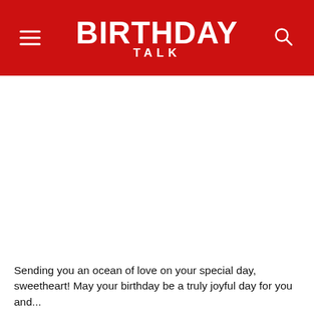BIRTHDAY TALK
Sending you an ocean of love on your special day, sweetheart! May your birthday be a truly joyful day for you and...